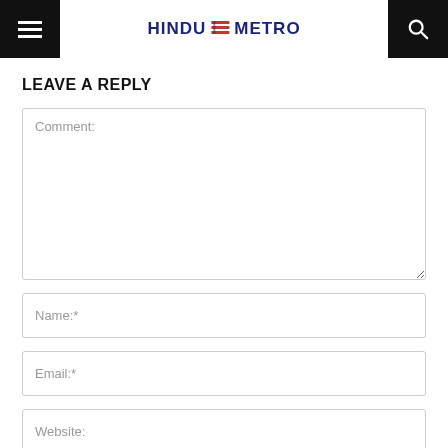HINDU METRO
LEAVE A REPLY
Comment:
Name:*
Email:*
Website: